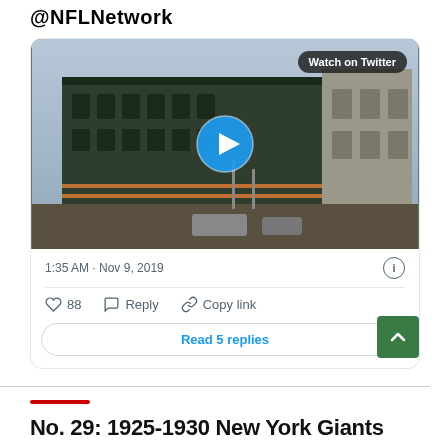@NFLNetwork
[Figure (screenshot): Twitter/X embedded video card showing an old stadium photo (appears to be Yankee Stadium or similar), with a circular blue play button in the center and a 'Watch on Twitter' badge in the top-right corner of the image.]
1:35 AM · Nov 9, 2019
♡ 88   Reply   Copy link
Read 5 replies
No. 29: 1925-1930 New York Giants